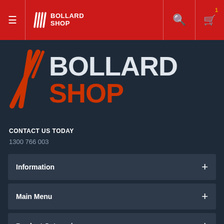[Figure (screenshot): Bollard Shop website header with red background, hamburger menu, Bollard Shop logo, search icon, and cart icon with badge '1']
[Figure (logo): Bollard Shop large logo on dark navy background with orange/red text and striped icon]
CONTACT US TODAY
1300 766 003
Information
Main Menu
Product Categories
Account & Shipping